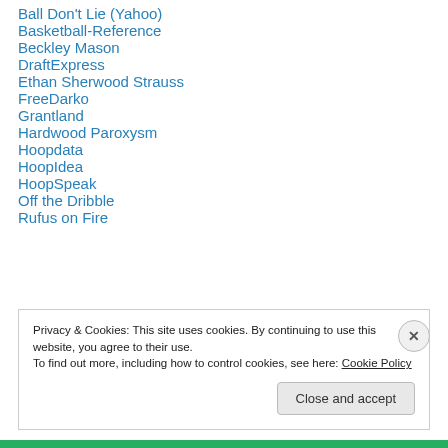Ball Don't Lie (Yahoo)
Basketball-Reference
Beckley Mason
DraftExpress
Ethan Sherwood Strauss
FreeDarko
Grantland
Hardwood Paroxysm
Hoopdata
HoopIdea
HoopSpeak
Off the Dribble
Rufus on Fire
Privacy & Cookies: This site uses cookies. By continuing to use this website, you agree to their use. To find out more, including how to control cookies, see here: Cookie Policy
Close and accept